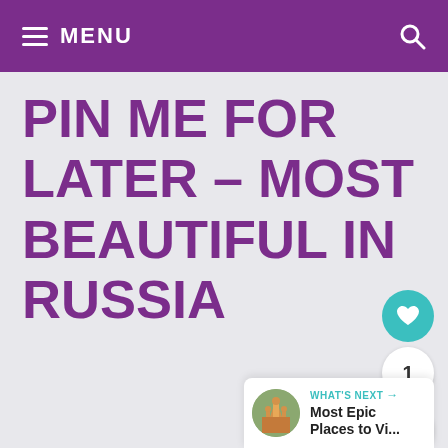MENU
PIN ME FOR LATER – MOST BEAUTIFUL IN RUSSIA
[Figure (screenshot): Floating action buttons: heart/like button (teal circle), count '1', and share button]
[Figure (screenshot): What's Next card with thumbnail of a Russian cathedral and text 'Most Epic Places to Vi...']